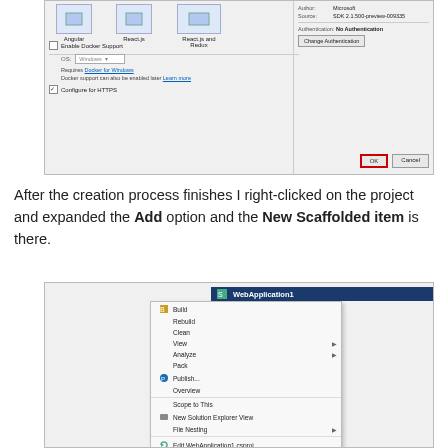[Figure (screenshot): Visual Studio dialog showing project template selection with Angular, React.js, React.js and Redux options. Right panel shows Author: Microsoft, Source: SDK 2.1.500-preview-009335, Authentication: No Authentication with Change Authentication button. Lower left has Enable Docker Support checkbox, OS: Windows dropdown, Requires Docker for Windows link, Docker support note and Configure for HTTPS checkbox. Bottom right shows OK (highlighted with red border) and Cancel buttons.]
After the creation process finishes I right-clicked on the project and expanded the Add option and the New Scaffolded item is there.
[Figure (screenshot): Visual Studio Solution Explorer context menu showing WebApplication1 with options: Build, Rebuild, Clean, View (with arrow), Analyze (with arrow), Pack, Publish..., Overview, Scope to This, New Solution Explorer View, File Nesting (with arrow), Edit WebApplication1.csproj]